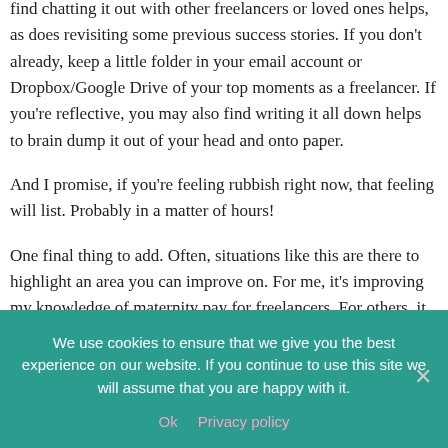find chatting it out with other freelancers or loved ones helps, as does revisiting some previous success stories. If you don't already, keep a little folder in your email account or Dropbox/Google Drive of your top moments as a freelancer. If you're reflective, you may also find writing it all down helps to brain dump it out of your head and onto paper.
And I promise, if you're feeling rubbish right now, that feeling will list. Probably in a matter of hours!
One final thing to add. Often, situations like this are there to highlight an area you can improve on. For me, it's improving my knowledge of maternity pay for freelancers. For others, it might be developing a
We use cookies to ensure that we give you the best experience on our website. If you continue to use this site we will assume that you are happy with it.
Ok   Privacy policy